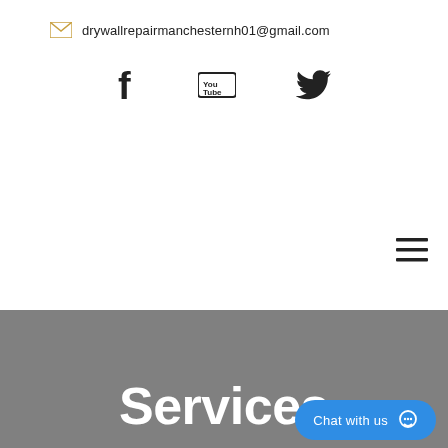drywallrepairmanchesternh01@gmail.com
[Figure (illustration): Social media icons: Facebook (f), YouTube, Twitter bird]
[Figure (illustration): Hamburger menu icon (three horizontal lines)]
Services
Chat with us